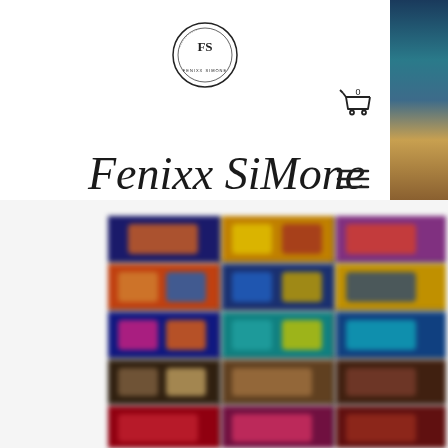[Figure (logo): Circular logo with 'FS' initials and text around the border]
Fenixx SiMone
[Figure (infographic): Shopping cart icon with '0' count]
[Figure (infographic): Hamburger menu icon (three horizontal lines)]
[Figure (photo): Blurred colorful product grid showing approximately 5 rows and 3 columns of colorful product images, partially visible on right side of page top]
[Figure (photo): Grid of blurred colorful product/artwork images arranged in 5 rows and 3 columns]